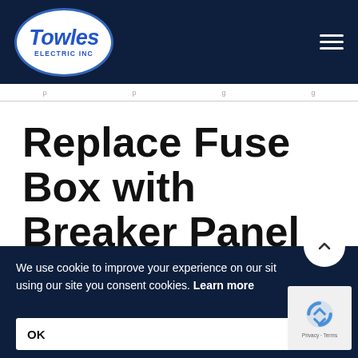[Figure (logo): Towles Electric Inc logo in white oval with blue text]
Navigation menu bar with hamburger icon
Replace Fuse Box with Breaker Panel
[Figure (photo): Photo of electrical breaker panel, blue background with partial skin-tone element]
We use cookie to improve your experience on our site using our site you consent cookies. Learn more
OK